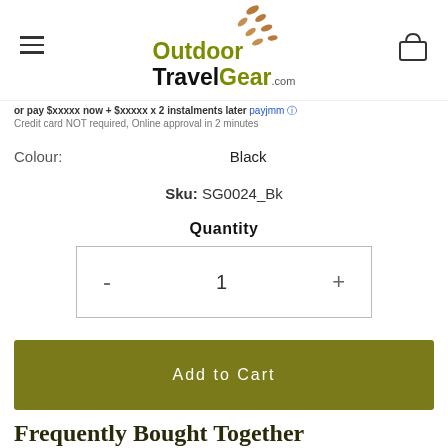Outdoor TravelGear.com
or pay $xxxxx now + $xxxxx x 2 instalments later [payjmm] Credit card NOT required, Online approval in 2 minutes
Colour: Black
Sku: SG0024_Bk
Quantity
- 1 +
Add to Cart
Frequently Bought Together